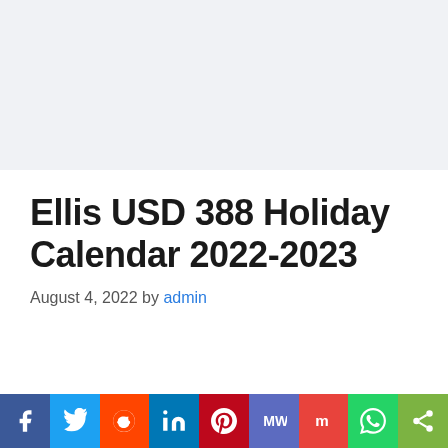Ellis USD 388 Holiday Calendar 2022-2023
August 4, 2022 by admin
[Figure (other): Social media sharing bar with icons for Facebook, Twitter, Reddit, LinkedIn, Pinterest, MeWe, Mix, WhatsApp, and Share]